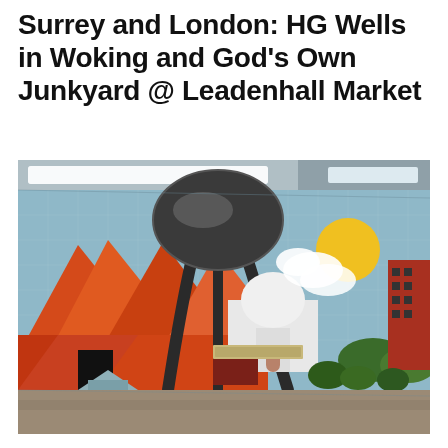Surrey and London: HG Wells in Woking and God’s Own Junkyard @ Leadenhall Market
[Figure (photo): Photograph of a tiled mural on a subway/tunnel wall depicting a colourful illustrated scene with orange tent/mountain shapes, a large dark tripod or alien machine, a white domed building, a yellow sun, green trees, and a red brick building, all set against a pale blue sky background. The floor in front of the mural is visible.]